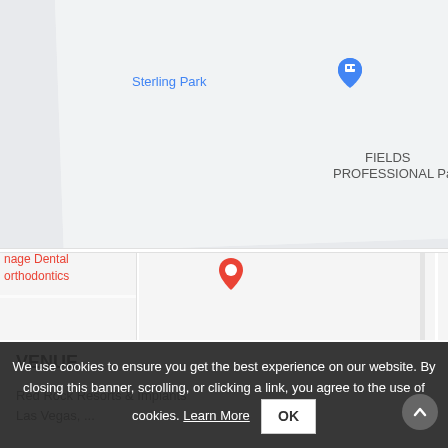[Figure (map): Google Maps screenshot showing area with Sterling Park, Fletch (truncated), FIELDS PROFESSIONAL Park, nage Dental Orthodontics (truncated), Extra Space Storage, Stone C Professional (truncated), Lady Viking Fitness, The Diamor (truncated). Red pin on dental office, blue shopping pins on Sterling Park and others, gray pins on FIELDS PROFESSIONAL Park and Lady Viking Fitness.]
VENUE
Red Rock Resorts & Implants
Las Vegas, ...
We use cookies to ensure you get the best experience on our website. By closing this banner, scrolling, or clicking a link, you agree to the use of cookies. Learn More  OK